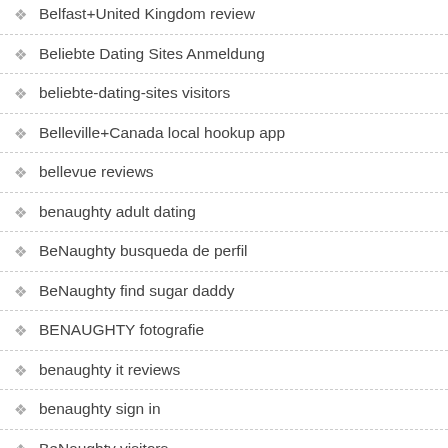Belfast+United Kingdom review
Beliebte Dating Sites Anmeldung
beliebte-dating-sites visitors
Belleville+Canada local hookup app
bellevue reviews
benaughty adult dating
BeNaughty busqueda de perfil
BeNaughty find sugar daddy
BENAUGHTY fotografie
benaughty it reviews
benaughty sign in
BeNaughty visitors